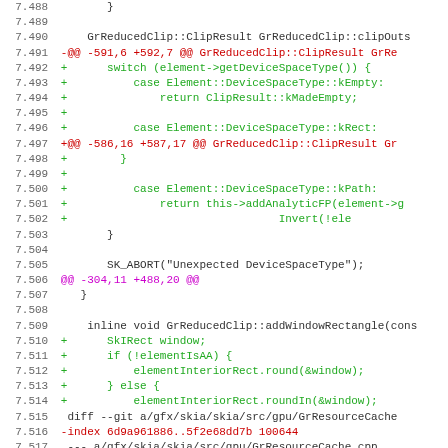[Figure (screenshot): A code diff view showing lines 7.488 to 7.519 of a source file, with line numbers on the left and diff-colored code on the right. Green lines indicate additions, red lines indicate removals, magenta lines indicate diff hunk headers.]